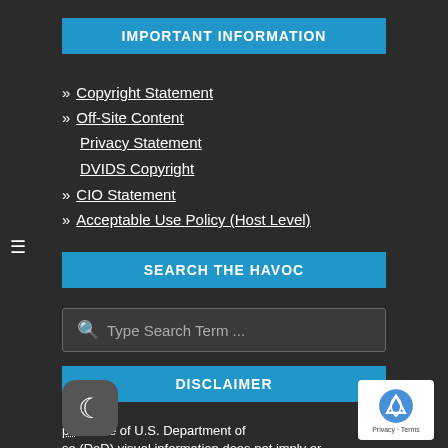IMPORTANT INFORMATION
» Copyright Statement
» Off-Site Content
Privacy Statement
DVIDS Copyright
» CIO Statement
» Acceptable Use Policy (Host Level)
SEARCH THE HAVOC
Type Search Term ...
DISCLAIMER
pearance of U.S. Department of se (DoD) visual information does not imply or constitute DoD endorsement.